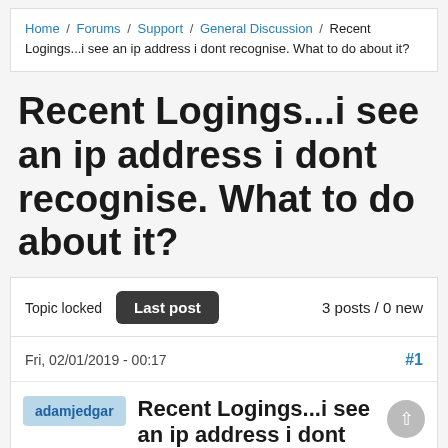Home / Forums / Support / General Discussion / Recent Logings...i see an ip address i dont recognise. What to do about it?
Recent Logings...i see an ip address i dont recognise. What to do about it?
Topic locked  Last post  3 posts / 0 new
Fri, 02/01/2019 - 00:17  #1
adamjedgar  Recent Logings...i see an ip address i dont